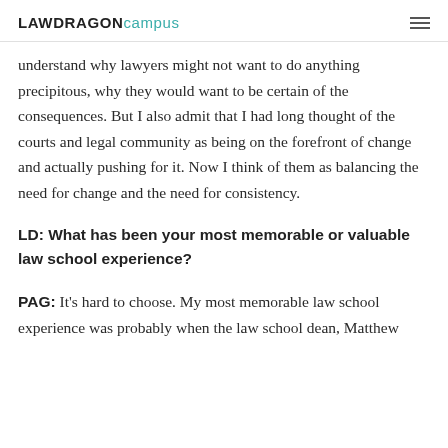LAWDRAGON campus
understand why lawyers might not want to do anything precipitous, why they would want to be certain of the consequences. But I also admit that I had long thought of the courts and legal community as being on the forefront of change and actually pushing for it. Now I think of them as balancing the need for change and the need for consistency.
LD: What has been your most memorable or valuable law school experience?
PAG: It's hard to choose. My most memorable law school experience was probably when the law school dean, Matthew